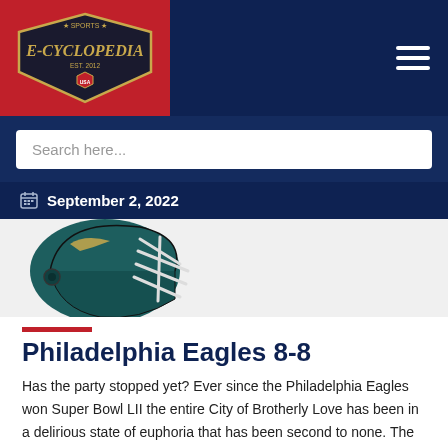[Figure (logo): Sports E-Cyclopedia logo on red background, shield/badge style with football imagery]
Search here...
September 2, 2022
[Figure (illustration): Philadelphia Eagles football helmet, teal/dark green color with white face mask]
Philadelphia Eagles 8-8
Has the party stopped yet? Ever since the Philadelphia Eagles won Super Bowl LII the entire City of Brotherly Love has been in a delirious state of euphoria that has been second to none. The Eagles now have the task of defending the crown it took so long to win, and will quickly discover life is hard at the top. Expect at least a minor Super Bowl hangover, as they await the return of Carson Wentz. The